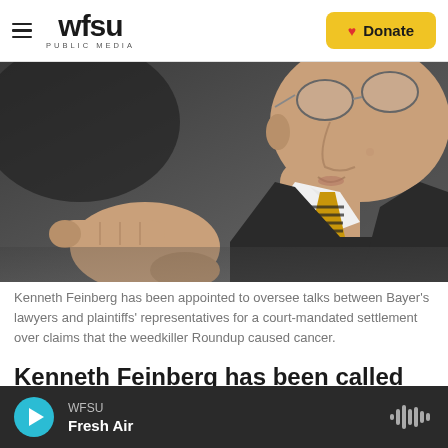WFSU PUBLIC MEDIA | Donate
[Figure (photo): Close-up photo of Kenneth Feinberg pointing his finger, wearing glasses, a white dress shirt, and a gold/black striped tie.]
Kenneth Feinberg has been appointed to oversee talks between Bayer's lawyers and plaintiffs' representatives for a court-mandated settlement over claims that the weedkiller Roundup caused cancer.
Kenneth Feinberg has been called on to tackle the emotionally grueling job of figuring out the
WFSU | Fresh Air